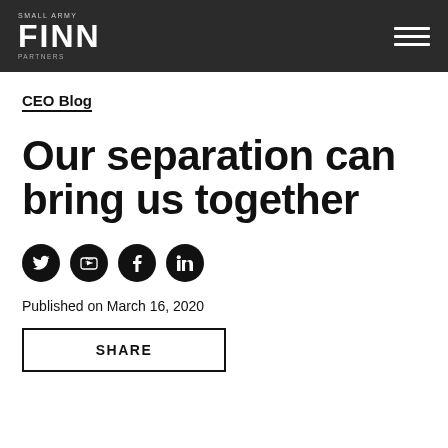SMALL ARMY FINN PARTNERS
CEO Blog
Our separation can bring us together
[Figure (other): Social media icons: Twitter, YouTube, Facebook, LinkedIn]
Published on March 16, 2020
SHARE